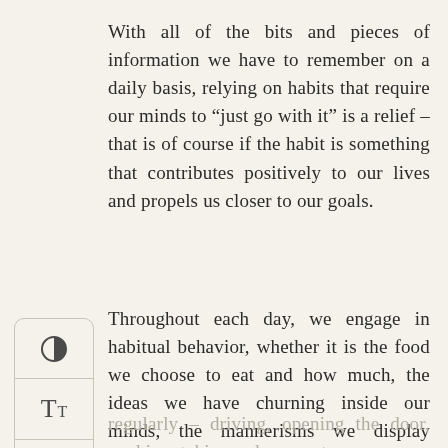With all of the bits and pieces of information we have to remember on a daily basis, relying on habits that require our minds to “just go with it” is a relief – that is of course if the habit is something that contributes positively to our lives and propels us closer to our goals.
Throughout each day, we engage in habitual behavior, whether it is the food we choose to eat and how much, the ideas we have churning inside our minds, the mannerisms we display toward others and even how we move and master skills we are expected to do
regularly – driving, opening the door, cooking, taking a shower, etc.